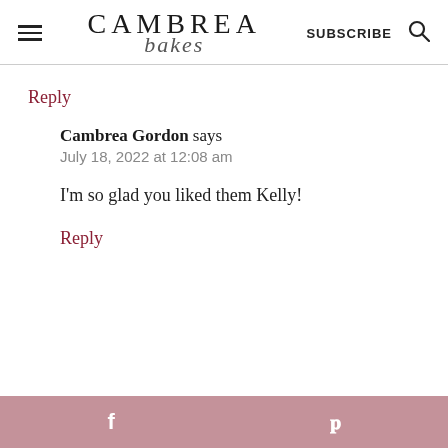CAMBREA bakes | SUBSCRIBE
Reply
Cambrea Gordon says
July 18, 2022 at 12:08 am
I'm so glad you liked them Kelly!
Reply
f  p